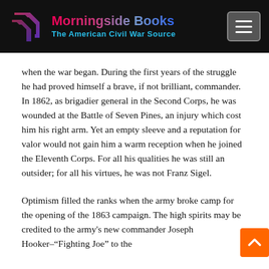Morningside Books — The American Civil War Source
when the war began. During the first years of the struggle he had proved himself a brave, if not brilliant, commander. In 1862, as brigadier general in the Second Corps, he was wounded at the Battle of Seven Pines, an injury which cost him his right arm. Yet an empty sleeve and a reputation for valor would not gain him a warm reception when he joined the Eleventh Corps. For all his qualities he was still an outsider; for all his virtues, he was not Franz Sigel.
Optimism filled the ranks when the army broke camp for the opening of the 1863 campaign. The high spirits may be credited to the army's new commander Joseph Hooker–"Fighting Joe" to the